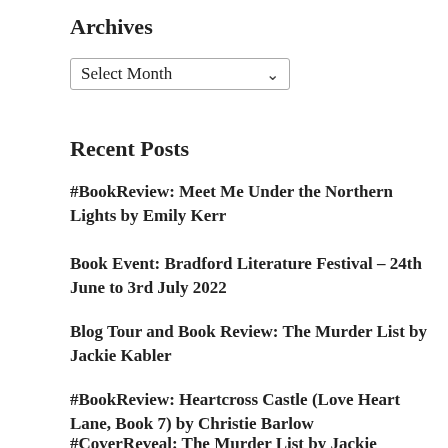Archives
Select Month
Recent Posts
#BookReview: Meet Me Under the Northern Lights by Emily Kerr
Book Event: Bradford Literature Festival – 24th June to 3rd July 2022
Blog Tour and Book Review: The Murder List by Jackie Kabler
#BookReview: Heartcross Castle (Love Heart Lane, Book 7) by Christie Barlow
#CoverReveal: The Murder List by Jackie Kabler